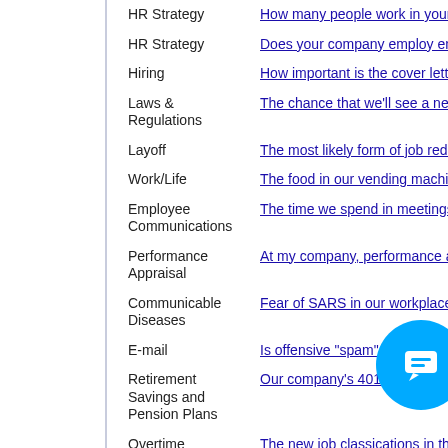| Category | Question/Link |
| --- | --- |
| HR Strategy | How many people work in your H... |
| HR Strategy | Does your company employ enou... |
| Hiring | How important is the cover letter... |
| Laws & Regulations | The chance that we’ll see a new... |
| Layoff | The most likely form of job reduc... |
| Work/Life | The food in our vending machine... |
| Employee Communications | The time we spend in meetings a... |
| Performance Appraisal | At my company, performance app... |
| Communicable Diseases | Fear of SARS in our workplace is... |
| E-mail | Is offensive "spam" workplace ha... |
| Retirement Savings and Pension Plans | Our company’s 401(k) match… |
| Overtime | The new job classications in the p... |
| War and Terrorism | In my workplace, disagreement o... |
| Gambling | At our workplace, NCAA basketb... |
| War and Terrorism | With war looming, are you limitin... |
| HR Strategy | Will HRAs be the a... alin... |
| Moving Expenses/ Relocation | Due to the slow ec... r rel... |
| Healthcare Insurance | What impact have health-insuran... |